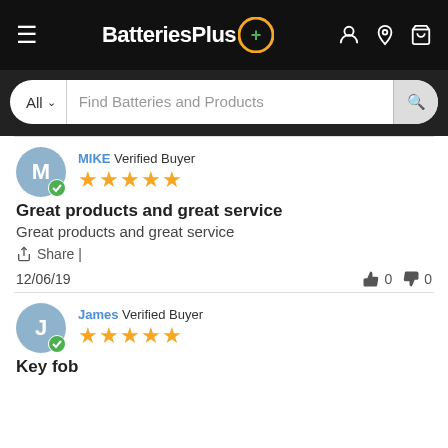[Figure (screenshot): BatteriesPlus website navigation bar with logo, hamburger menu, account, location, and cart icons]
[Figure (screenshot): Search bar with All dropdown and Find Batteries and Products placeholder text]
MIKE Verified Buyer ★★★★★
Great products and great service
Great products and great service
Share |
12/06/19   👍 0  👎 0
James Verified Buyer ★★★★★
Key fob